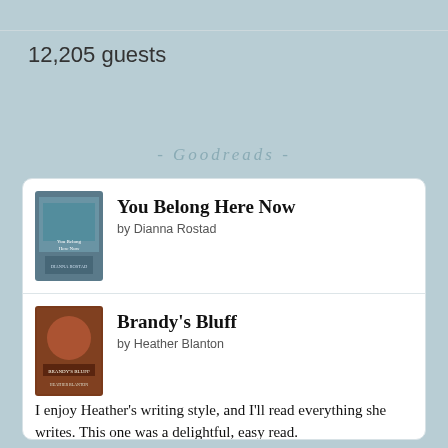12,205 guests
- Goodreads -
You Belong Here Now by Dianna Rostad
Brandy's Bluff by Heather Blanton — I enjoy Heather's writing style, and I'll read everything she writes. This one was a delightful, easy read.
Redeeming Love by Francine Rivers